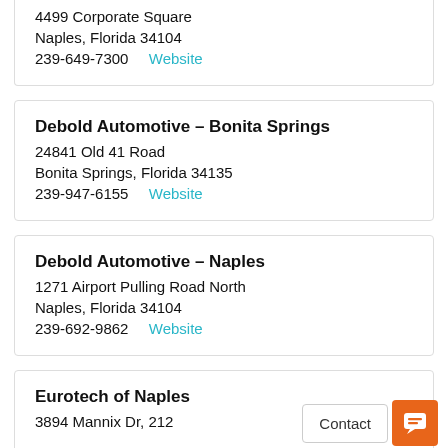4499 Corporate Square
Naples, Florida 34104
239-649-7300  Website
Debold Automotive – Bonita Springs
24841 Old 41 Road
Bonita Springs, Florida 34135
239-947-6155  Website
Debold Automotive – Naples
1271 Airport Pulling Road North
Naples, Florida 34104
239-692-9862  Website
Eurotech of Naples
3894 Mannix Dr, 212